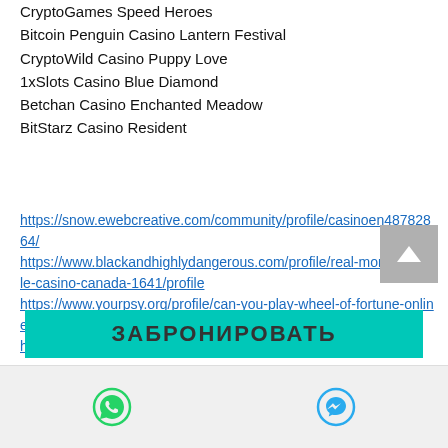CryptoGames Speed Heroes
Bitcoin Penguin Casino Lantern Festival
CryptoWild Casino Puppy Love
1xSlots Casino Blue Diamond
Betchan Casino Enchanted Meadow
BitStarz Casino Resident
https://snow.ewebcreative.com/community/profile/casinoen48782864/
https://www.blackandhighlydangerous.com/profile/real-money-mobile-casino-canada-1641/profile
https://www.yourpsy.org/profile/can-you-play-wheel-of-fortune-online-2149/profile
https://synchrodynamic.com/groups/create/step/forum/
ЗАБРОНИРОВАТЬ
[Figure (other): WhatsApp and Telegram icons in a bottom navigation bar]